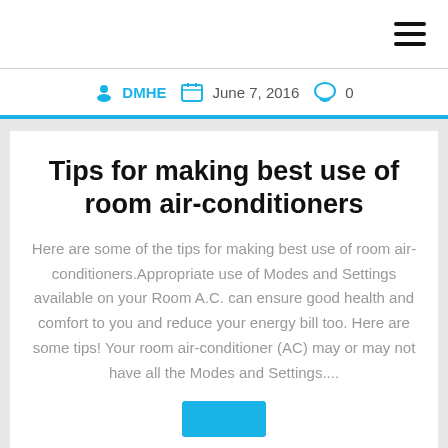☰ (hamburger menu icon)
👤 DMHE 📅 June 7, 2016 💬 0
Tips for making best use of room air-conditioners
Here are some of the tips for making best use of room air-conditioners.Appropriate use of Modes and Settings available on your Room A.C. can ensure good health and comfort to you and reduce your energy bill too. Here are some tips! Your room air-conditioner (AC) may or may not have all the Modes and Settings....